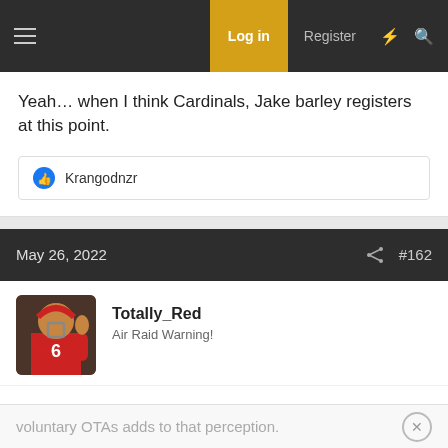Log in  Register
Yeah… when I think Cardinals, Jake barley registers at this point.
Krangodnzr
May 26, 2022  #162
Totally_Red
Air Raid Warning!
The reality is that Kyler's work ethic and leadership have been questioned. The questionable leadership means paying up for if not overpaying for veterans like Watt, Ertz, and Conner. The work ethic issue means skipping
voluntary OTAs adds to that perception.